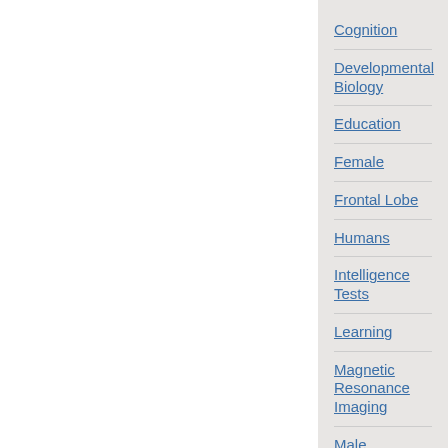Cognition
Developmental Biology
Education
Female
Frontal Lobe
Humans
Intelligence Tests
Learning
Magnetic Resonance Imaging
Male
Mathematics
Parietal Lobe
Television